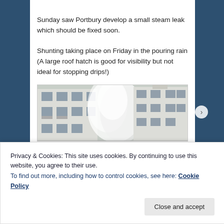Sunday saw Portbury develop a small steam leak which should be fixed soon.
Shunting taking place on Friday in the pouring rain (A large roof hatch is good for visibility but not ideal for stopping drips!)
[Figure (photo): Photograph of multi-storey buildings with white steam or smoke visible between them, taken from street level.]
Privacy & Cookies: This site uses cookies. By continuing to use this website, you agree to their use.
To find out more, including how to control cookies, see here: Cookie Policy